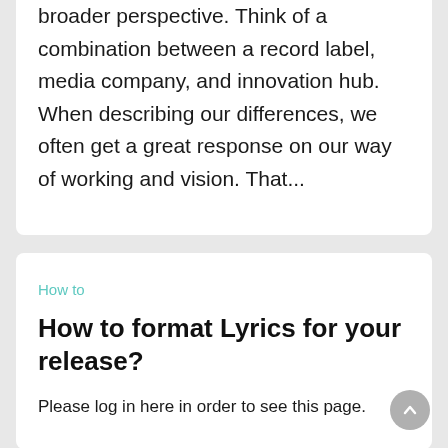broader perspective. Think of a combination between a record label, media company, and innovation hub. When describing our differences, we often get a great response on our way of working and vision. That...
How to
How to format Lyrics for your release?
Please log in here in order to see this page.